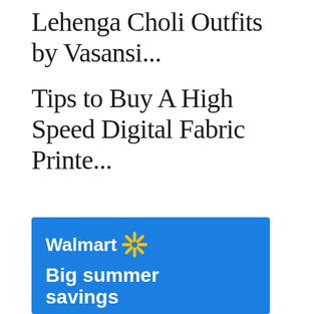Lehenga Choli Outfits by Vasansi...
Tips to Buy A High Speed Digital Fabric Printe...
[Figure (screenshot): Walmart advertisement banner with blue background, Walmart logo with yellow spark symbol, and text 'Big summer savings']